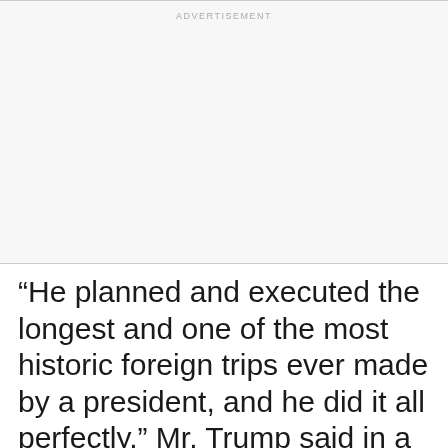ADVERTISEMENT
“He planned and executed the longest and one of the most historic foreign trips ever made by a president, and he did it all perfectly,” Mr. Trump said in a statement. “We